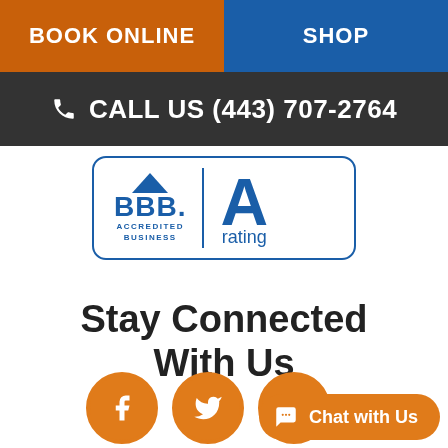BOOK ONLINE
SHOP
CALL US (443) 707-2764
[Figure (logo): BBB Accredited Business A rating badge with blue border]
Stay Connected With Us
[Figure (infographic): Facebook, Twitter, and another social media icon circles in orange, plus a Chat with Us pill button in orange]